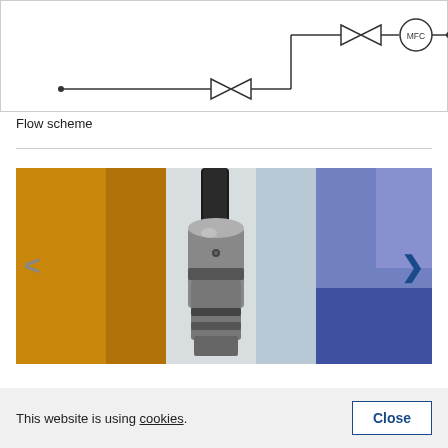[Figure (schematic): Flow scheme diagram showing piping with valve symbols and MFC (mass flow controller) component connected by lines]
Flow scheme
[Figure (photo): Close-up photograph of an industrial sensor or connector plug, metallic cylindrical component with black cable, yellow and blue blurred background]
This website is using cookies.
Close